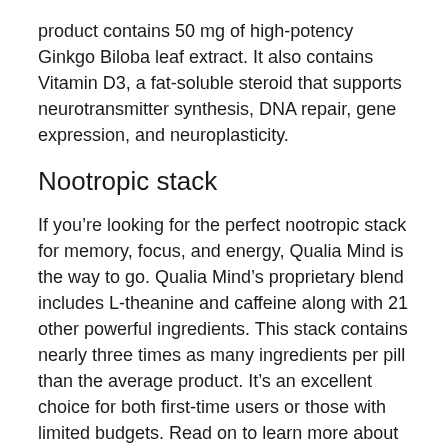product contains 50 mg of high-potency Ginkgo Biloba leaf extract. It also contains Vitamin D3, a fat-soluble steroid that supports neurotransmitter synthesis, DNA repair, gene expression, and neuroplasticity.
Nootropic stack
If you're looking for the perfect nootropic stack for memory, focus, and energy, Qualia Mind is the way to go. Qualia Mind's proprietary blend includes L-theanine and caffeine along with 21 other powerful ingredients. This stack contains nearly three times as many ingredients per pill than the average product. It's an excellent choice for both first-time users or those with limited budgets. Read on to learn more about this product and how it works.